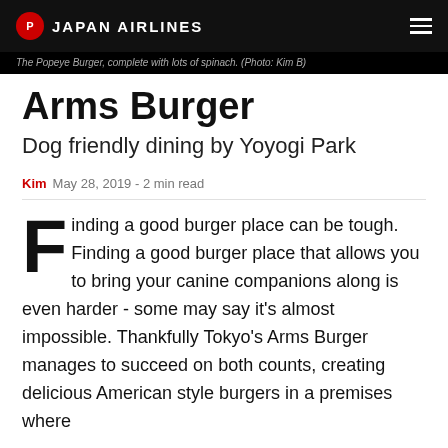JAPAN AIRLINES
The Popeye Burger, complete with lots of spinach. (Photo: Kim B)
Arms Burger
Dog friendly dining by Yoyogi Park
Kim  May 28, 2019 - 2 min read
Finding a good burger place can be tough. Finding a good burger place that allows you to bring your canine companions along is even harder - some may say it's almost impossible. Thankfully Tokyo's Arms Burger manages to succeed on both counts, creating delicious American style burgers in a premises where